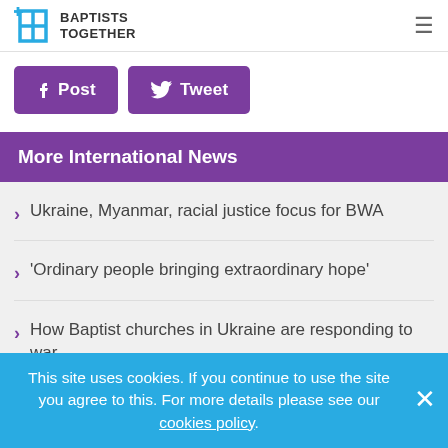Baptists Together
[Figure (other): Social share buttons: Post (Facebook) and Tweet (Twitter)]
More International News
Ukraine, Myanmar, racial justice focus for BWA
'Ordinary people bringing extraordinary hope'
How Baptist churches in Ukraine are responding to war
This site uses cookies. If you continue to use the site you agree to this. For more details please see our cookies policy.